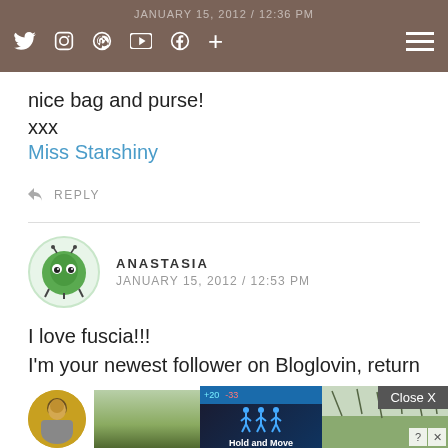Navigation bar with social icons and hamburger menu. Date overlay: JANUARY 15, 2012 / 12:36 PM
nice bag and purse!
xxx
Miss Starshiny
↩ REPLY
ANASTASIA
JANUARY 15, 2012 / 12:53 PM
I love fuscia!!!
I'm your newest follower on Bloglovin, return love back?
xxxxx
↩ REPLY
[Figure (screenshot): Bottom of page showing partial avatar photo (person with dark hair) and advertisement overlay with 'Close X' button and 'Hold and Move' game ad alongside a nature photo.]